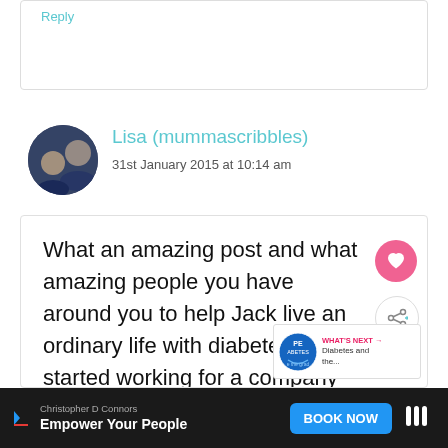Reply
Lisa (mummascribbles)
31st January 2015 at 10:14 am
What an amazing post and what amazing people you have around you to help Jack live an ordinary life with diabetes. I started working for a company that organises diabetes
[Figure (infographic): WHAT'S NEXT arrow with PEABETES logo and text 'Diabetes and the...']
Christopher D Connors Empower Your People BOOK NOW